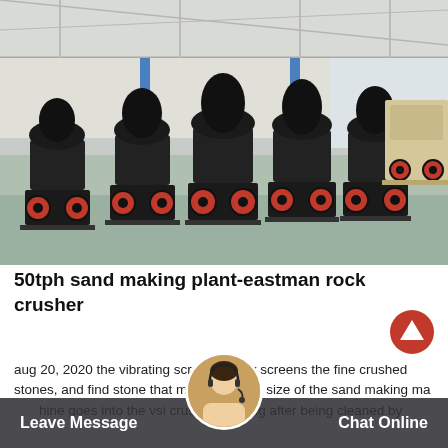[Figure (photo): Factory floor showing multiple black and red cone crushers and one beige jaw crusher lined up in an industrial warehouse/factory setting with steel roof structure visible.]
50tph sand making plant-eastman rock crusher
aug 20, 2020 the vibrating screen strictly screens the fine crushed stones, and find stone that meets the required size of the sand making machine goes into the vsi crusher cleaning after being cleaned by
Leave Message   Chat Online